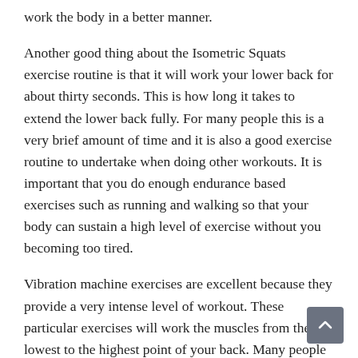work the body in a better manner.
Another good thing about the Isometric Squats exercise routine is that it will work your lower back for about thirty seconds. This is how long it takes to extend the lower back fully. For many people this is a very brief amount of time and it is also a good exercise routine to undertake when doing other workouts. It is important that you do enough endurance based exercises such as running and walking so that your body can sustain a high level of exercise without you becoming too tired.
Vibration machine exercises are excellent because they provide a very intense level of workout. These particular exercises will work the muscles from the lowest to the highest point of your back. Many people who use these machines also use a resistance training device to help make the workout more effective. These devices are excellent for improving the intensity of your workout.
It is important to remember that not everyone will be able to get the maximum amount of benefit from performing Isometric Squats. If you have less than stellar form you may not get as much benefit from the exercise routine if it does not